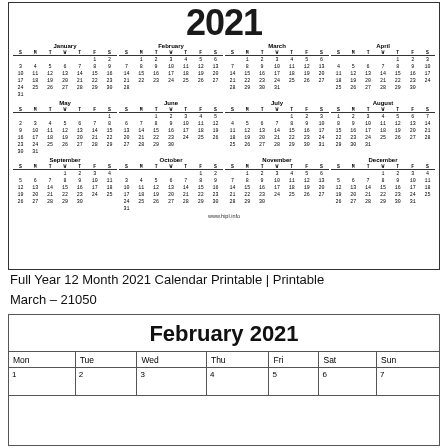[Figure (other): Full year 2021 calendar showing all 12 months in a grid layout with a large '2021' title at top. Each month shows a mini calendar with S M T W T F S columns. Website 'www.hipl.info' shown at bottom.]
Full Year 12 Month 2021 Calendar Printable | Printable
March – 21050
| Mon | Tue | Wed | Thu | Fri | Sat | Sun |
| --- | --- | --- | --- | --- | --- | --- |
| 1 | 2 | 3 | 4 | 5 | 6 | 7 |